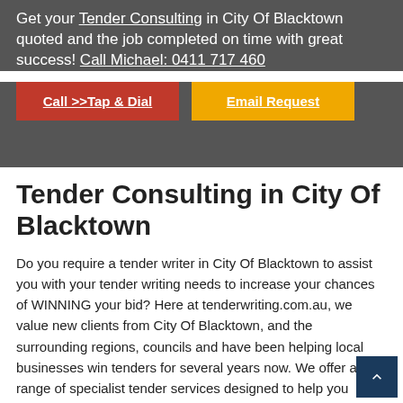Get your Tender Consulting in City Of Blacktown quoted and the job completed on time with great success! Call Michael: 0411 717 460
Call >>Tap & Dial | Email Request
Tender Consulting in City Of Blacktown
Do you require a tender writer in City Of Blacktown to assist you with your tender writing needs to increase your chances of WINNING your bid? Here at tenderwriting.com.au, we value new clients from City Of Blacktown, and the surrounding regions, councils and have been helping local businesses win tenders for several years now. We offer a range of specialist tender services designed to help you increase your business reach in City Of Blacktown. Our tender writing services range from business consulting, to tender reviews to full tender writing. Our consulting services enable you to actively participate